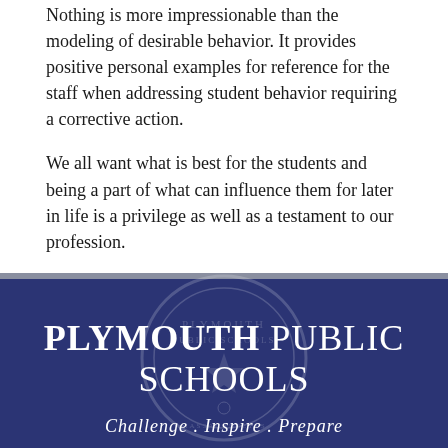Nothing is more impressionable than the modeling of desirable behavior. It provides positive personal examples for reference for the staff when addressing student behavior requiring a corrective action.
We all want what is best for the students and being a part of what can influence them for later in life is a privilege as well as a testament to our profession.
[Figure (logo): Plymouth Public Schools logo with text 'PLYMOUTH PUBLIC SCHOOLS' and tagline 'Challenge . Inspire . Prepare' on dark navy blue background with faint seal watermark]